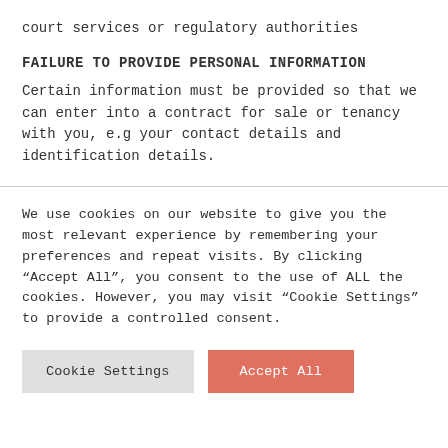court services or regulatory authorities
FAILURE TO PROVIDE PERSONAL INFORMATION
Certain information must be provided so that we can enter into a contract for sale or tenancy with you, e.g your contact details and identification details.
We use cookies on our website to give you the most relevant experience by remembering your preferences and repeat visits. By clicking “Accept All”, you consent to the use of ALL the cookies. However, you may visit “Cookie Settings” to provide a controlled consent.
Cookie Settings
Accept All